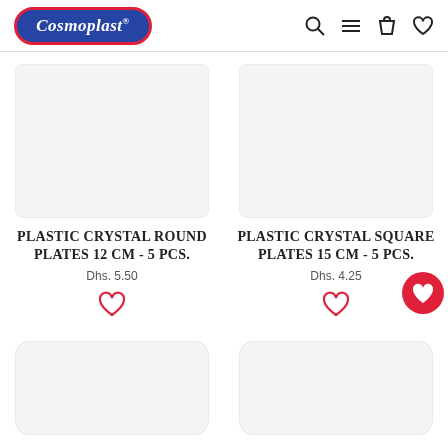[Figure (logo): Cosmoplast brand logo — white italic serif text on blue oval with red border]
[Figure (other): Navigation icons: search, hamburger menu, shopping bag, heart/wishlist]
PLASTIC CRYSTAL ROUND PLATES 12 CM - 5 PCS.
Dhs. 5.50
PLASTIC CRYSTAL SQUARE PLATES 15 CM - 5 PCS.
Dhs. 4.25